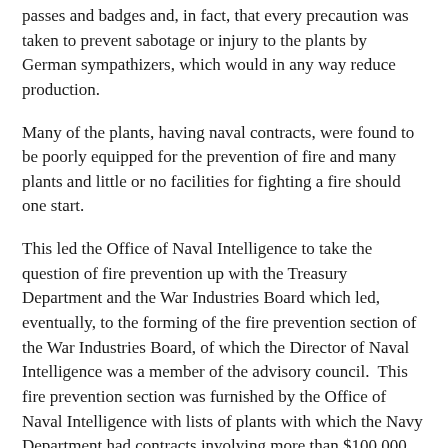passes and badges and, in fact, that every precaution was taken to prevent sabotage or injury to the plants by German sympathizers, which would in any way reduce production.
Many of the plants, having naval contracts, were found to be poorly equipped for the prevention of fire and many plants and little or no facilities for fighting a fire should one start.
This led the Office of Naval Intelligence to take the question of fire prevention up with the Treasury Department and the War Industries Board which led, eventually, to the forming of the fire prevention section of the War Industries Board, of which the Director of Naval Intelligence was a member of the advisory council. This fire prevention section was furnished by the Office of Naval Intelligence with lists of plants with which the Navy Department had contracts involving more than $100,000 and which, from the result by inspection of its agents, seemed to have a little or no apparatus for the prevention of the fighting of fire. The fire prevention committee immediately dispatched expert inspectors for a careful examination of these plants and as a result of these inspections, made recommendations covering what was required to place them in a proper condition to prevent their destruction by fire. During the few months of its operation the fire prevention section secured the